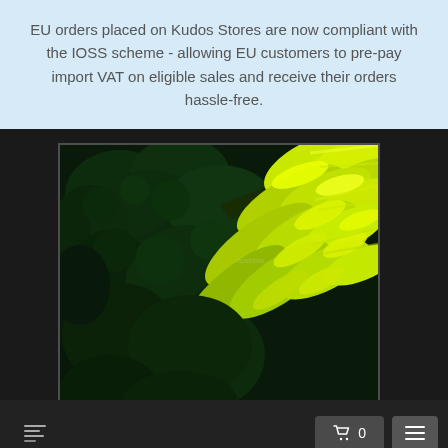EU orders placed on Kudos Stores are now compliant with the IOSS scheme - allowing EU customers to pre-pay import VAT on eligible sales and receive their orders hassle-free.
[Figure (photo): Close-up photograph of green and yellow-green foliage/plant leaves against a dark background, displayed inside a white-bordered frame on a dark webpage background.]
Navigation bar with logo/back arrow on left, shopping cart button showing 0 items and hamburger menu button on right